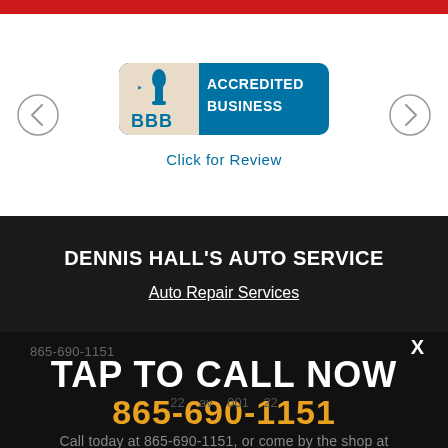[Figure (logo): BBB Accredited Business badge with blue background and torch logo]
Click for Review
DENNIS HALL'S AUTO SERVICE
Auto Repair Services
865-690-1151
TAP TO CALL NOW
865-690-1151
X
Call today at 865-690-1151, or come by the shop at